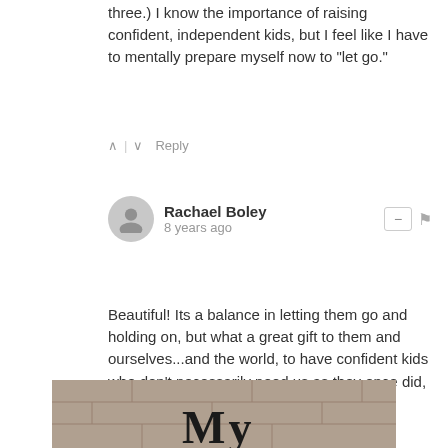three.) I know the importance of raising confident, independent kids, but I feel like I have to mentally prepare myself now to "let go."
∧ | ∨  Reply
Rachael Boley
8 years ago
Beautiful! Its a balance in letting them go and holding on, but what a great gift to them and ourselves...and the world, to have confident kids who don't necessarily need us as they once did, but still want us close by. Great post.
∧ | ∨  Reply
Subscribe  Do Not Sell My Data   DISQUS
[Figure (photo): Partial view of a brick wall with large serif letter 'My' text visible at the bottom of the page]